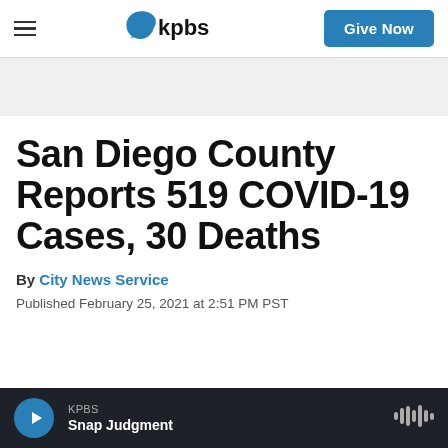KPBS | Give Now
San Diego County Reports 519 COVID-19 Cases, 30 Deaths
By City News Service
Published February 25, 2021 at 2:51 PM PST
KPBS | Snap Judgment